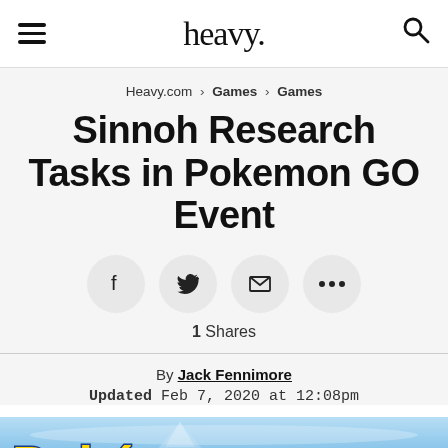heavy.
Heavy.com > Games > Games
Sinnoh Research Tasks in Pokemon GO Event
[Figure (infographic): Social share buttons: Facebook, Twitter, Email, More (...)]
1 Shares
By Jack Fennimore
Updated Feb 7, 2020 at 12:08pm
[Figure (photo): Pokemon GO event banner image with Pokemon logo and bird Pokemon silhouettes against a blue sky background]